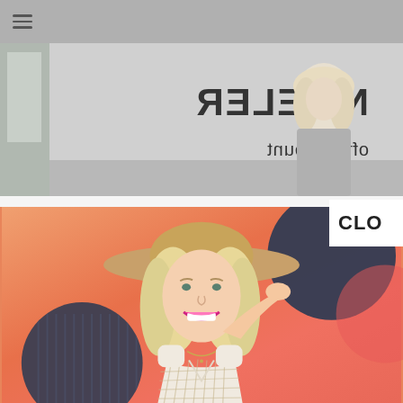Navigation menu icon
[Figure (photo): Blonde woman standing in front of a coffee counter with reversed signage reading 'TELER' and 'office count', wearing casual clothes, black and white photo]
[Figure (photo): Blonde woman smiling widely wearing a wide-brim straw hat and plaid/gingham white and tan wrap dress, standing in front of a colorful abstract mural with peach/orange, coral, and dark navy blue circle shapes]
CLO